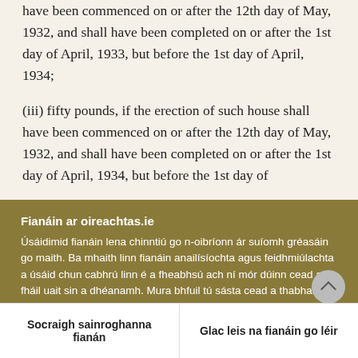have been commenced on or after the 12th day of May, 1932, and shall have been completed on or after the 1st day of April, 1933, but before the 1st day of April, 1934;
(iii) fifty pounds, if the erection of such house shall have been commenced on or after the 12th day of May, 1932, and shall have been completed on or after the 1st day of April, 1934, but before the 1st day of
Fianáin ar oireachtas.ie
Úsáidimid fianáin lena chinntiú go n-oibríonn ár suíomh gréasáin go maith. Ba mhaith linn fianáin anailísíochta agus feidhmiúlachta a úsáid chun cabhrú linn é a fheabhsú ach ní mór dúinn cead a fháil uait sin a dhéanamh. Mura bhfuil tú sásta cead a thabhairt, ní úsáidfear ach fianáin riachtanacha. Léigh tuileadh faoinár bhfianáin
Socraigh sainroghanna fianán
Glac leis na fianáin go léir